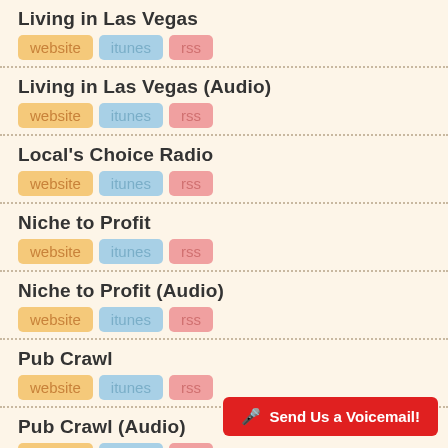Living in Las Vegas
website | itunes | rss
Living in Las Vegas (Audio)
website | itunes | rss
Local's Choice Radio
website | itunes | rss
Niche to Profit
website | itunes | rss
Niche to Profit (Audio)
website | itunes | rss
Pub Crawl
website | itunes | rss
Pub Crawl (Audio)
website | itunes | rss
🎤 Send Us a Voicemail!